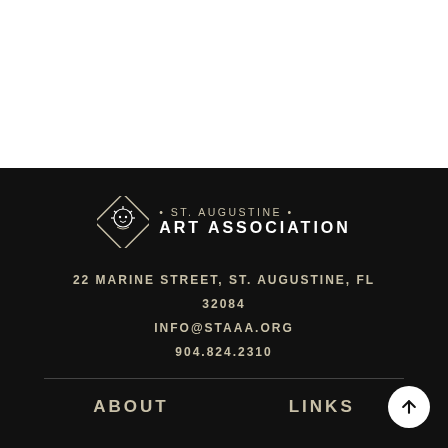[Figure (logo): St. Augustine Art Association logo with diamond/lion emblem and text]
22 MARINE STREET, ST. AUGUSTINE, FL 32084
INFO@STAAA.ORG
904.824.2310
ABOUT   LINKS